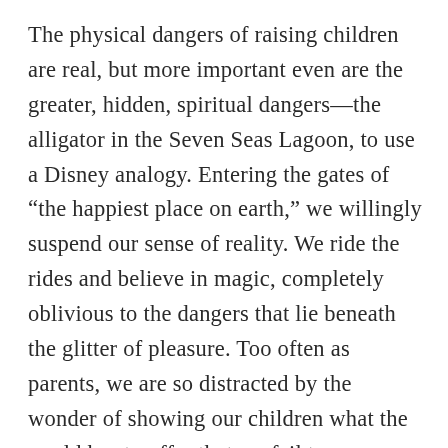The physical dangers of raising children are real, but more important even are the greater, hidden, spiritual dangers—the alligator in the Seven Seas Lagoon, to use a Disney analogy. Entering the gates of "the happiest place on earth," we willingly suspend our sense of reality. We ride the rides and believe in magic, completely oblivious to the dangers that lie beneath the glitter of pleasure. Too often as parents, we are so distracted by the wonder of showing our children what the world has to offer that we fail to adequately keep watch over their souls (Heb. 13:17).